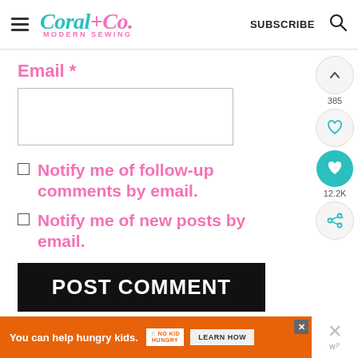Coral+Co. MODERN SEWING — SUBSCRIBE
Email *
Notify me of follow-up comments by email.
Notify me of new posts by email.
POST COMMENT
[Figure (screenshot): Ad banner: You can help hungry kids. No Kid Hungry. LEARN HOW]
[Figure (infographic): Social sidebar with up arrow (385), heart outline, teal heart (12.2K), share icons]